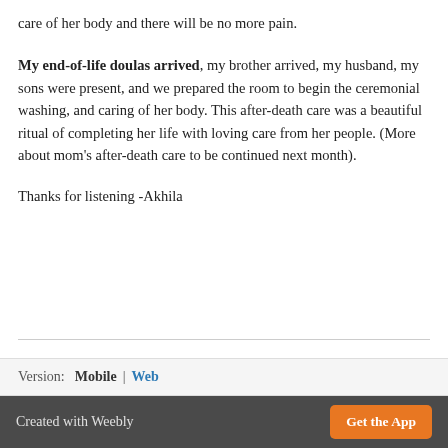care of her body and there will be no more pain.
My end-of-life doulas arrived, my brother arrived, my husband, my sons were present, and we prepared the room to begin the ceremonial washing, and caring of her body. This after-death care was a beautiful ritual of completing her life with loving care from her people. (More about mom's after-death care to be continued next month).
Thanks for listening -Akhila
Version: Mobile | Web
Created with Weebly  Get the App